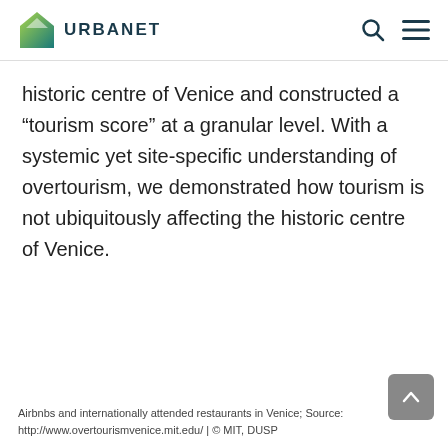URBANET
historic centre of Venice and constructed a “tourism score” at a granular level. With a systemic yet site-specific understanding of overtourism, we demonstrated how tourism is not ubiquitously affecting the historic centre of Venice.
Airbnbs and internationally attended restaurants in Venice; Source: http://www.overtourismvenice.mit.edu/ | © MIT, DUSP